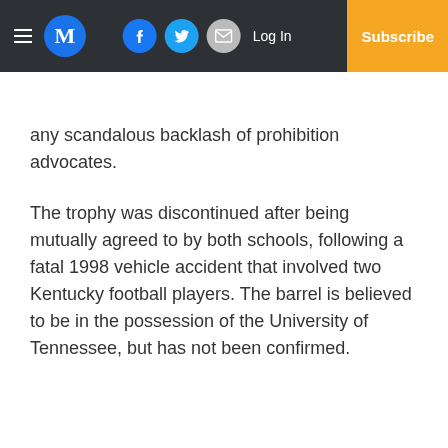Medium website header with logo, social buttons, Log In, and Subscribe
any scandalous backlash of prohibition advocates.
The trophy was discontinued after being mutually agreed to by both schools, following a fatal 1998 vehicle accident that involved two Kentucky football players. The barrel is believed to be in the possession of the University of Tennessee, but has not been confirmed.